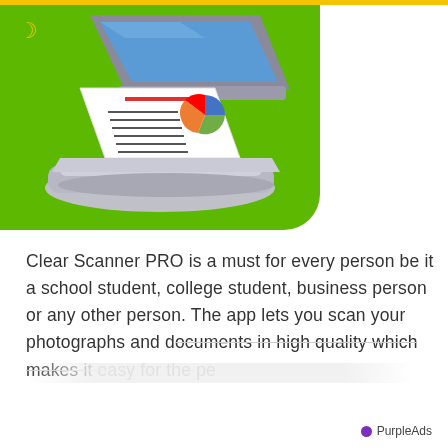[Figure (screenshot): Clear Scanner PRO app icon — a document scanner illustration on a bright green rounded-rectangle background, showing a silver flatbed scanner with its lid open, a document with text lines and a pie chart on the scanning bed, set on lime-green background with a yellow crescent moon icon in the top-left corner.]
Clear Scanner PRO is a must for every person be it a school student, college student, business person or any other person. The app lets you scan your photographs and documents in high quality which makes it easy for the pe
PurpleAds